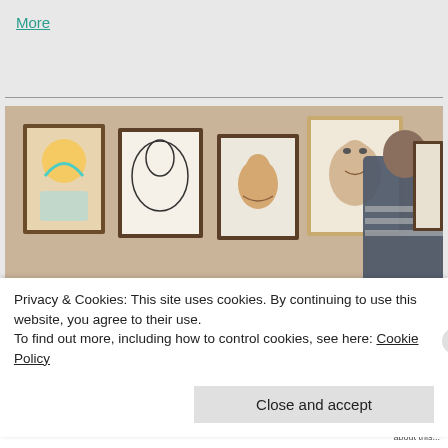More
[Figure (photo): Art gallery with framed portraits and caricatures on a beige wall; a visitor with arms folded views the artwork from behind]
Privacy & Cookies: This site uses cookies. By continuing to use this website, you agree to their use.
To find out more, including how to control cookies, see here: Cookie Policy
Close and accept